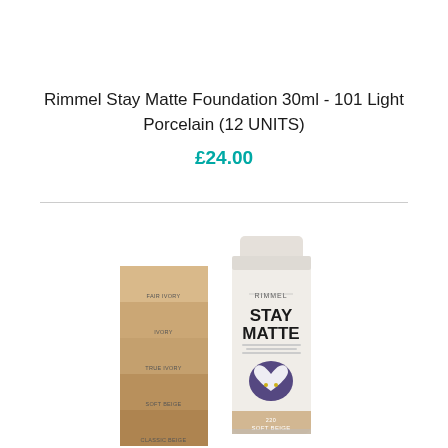Rimmel Stay Matte Foundation 30ml - 101 Light Porcelain (12 UNITS)
£24.00
[Figure (photo): Product photo of Rimmel Stay Matte Foundation tube with shade swatches including Fair Ivory, Ivory, True Ivory, Soft Beige, Classic Beige. The tube shows 'Soft Beige' shade label at the bottom.]